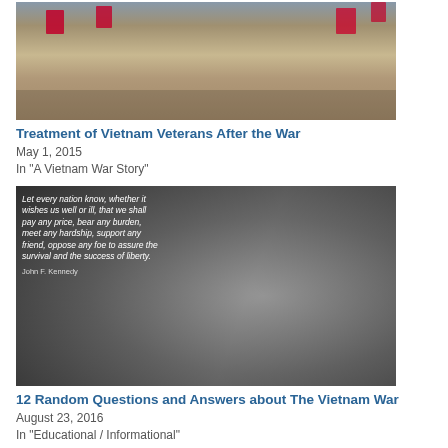[Figure (photo): Crowd of people waving American flags at a public event or parade, color photograph]
Treatment of Vietnam Veterans After the War
May 1, 2015
In "A Vietnam War Story"
[Figure (photo): Black and white photograph of a soldier carrying an American flag and gear through a field, overlaid with a John F. Kennedy quote: "Let every nation know, whether it wishes us well or ill, that we shall pay any price, bear any burden, meet any hardship, support any friend, oppose any foe to assure the survival and the success of liberty. John F. Kennedy"]
12 Random Questions and Answers about The Vietnam War
August 23, 2016
In "Educational / Informational"